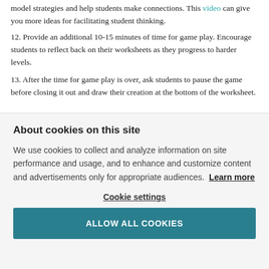model strategies and help students make connections. This video can give you more ideas for facilitating student thinking.
12. Provide an additional 10-15 minutes of time for game play. Encourage students to reflect back on their worksheets as they progress to harder levels.
13. After the time for game play is over, ask students to pause the game before closing it out and draw their creation at the bottom of the worksheet.
About cookies on this site
We use cookies to collect and analyze information on site performance and usage, and to enhance and customize content and advertisements only for appropriate audiences. Learn more
Cookie settings
ALLOW ALL COOKIES